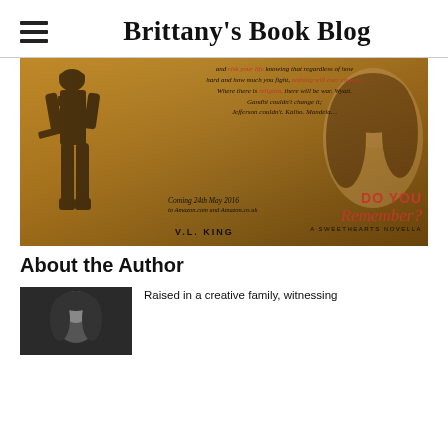Brittany's Book Blog
[Figure (photo): Book promotional image for 'Do You Remember? A Sweethearts Novella' by V.L. King, featuring a soldier silhouette and a woman's face, with text overlay including a quote and coming date of 24th May 2016 to Amazon.com and Amazon.co.uk]
About the Author
[Figure (photo): Author photo - partial view, dark background]
Raised in a creative family, witnessing